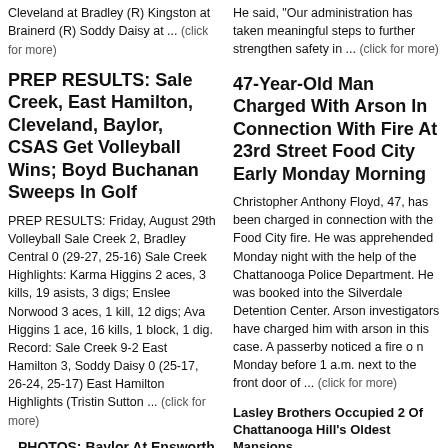Cleveland at Bradley (R) Kingston at Brainerd (R) Soddy Daisy at ... (click for more)
PREP RESULTS: Sale Creek, East Hamilton, Cleveland, Baylor, CSAS Get Volleyball Wins; Boyd Buchanan Sweeps In Golf
PREP RESULTS: Friday, August 29th Volleyball Sale Creek 2, Bradley Central 0 (29-27, 25-16) Sale Creek Highlights: Karma Higgins 2 aces, 3 kills, 19 asists, 3 digs; Enslee Norwood 3 aces, 1 kill, 12 digs; Ava Higgins 1 ace, 16 kills, 1 block, 1 dig. Record: Sale Creek 9-2 East Hamilton 3, Soddy Daisy 0 (25-17, 26-24, 25-17) East Hamilton Highlights (Tristin Sutton ... (click for more)
PHOTOS: Baylor At Ensworth
Baylor Boys Cross Country Finishes Third At Coleman Midgett Invitational
East Hamilton Girls Place Second At Five Star Stride
He said, "Our administration has taken meaningful steps to further strengthen safety in ... (click for more)
47-Year-Old Man Charged With Arson In Connection With Fire At 23rd Street Food City Early Monday Morning
Christopher Anthony Floyd, 47, has been charged in connection with the Food City fire. He was apprehended Monday night with the help of the Chattanooga Police Department. He was booked into the Silverdale Detention Center. Arson investigators have charged him with arson in this case. A passerby noticed a fire o n Monday before 1 a.m. next to the front door of ... (click for more)
Lasley Brothers Occupied 2 Of Chattanooga Hill's Oldest Mansions
Erlanger Health System Board Chairman Formally Adopts Mission Agreement
Man, 32, Shot Monday Night In...